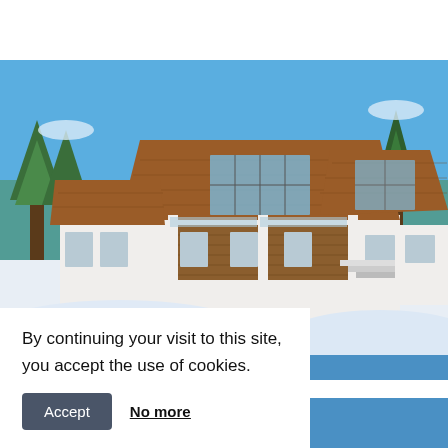[Figure (photo): Exterior photo of a modern Alpine chalet with wood and white plaster facade, large windows, snow-covered surroundings, blue sky, and pine trees in the background.]
By continuing your visit to this site, you accept the use of cookies.
Accept   No more